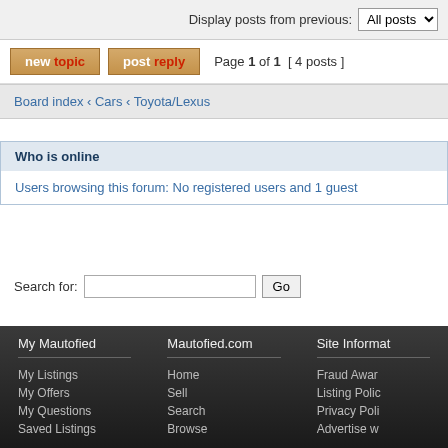Display posts from previous: All posts
new topic   post reply   Page 1 of 1  [ 4 posts ]
Board index ‹ Cars ‹ Toyota/Lexus
Who is online
Users browsing this forum: No registered users and 1 guest
Search for:  Go
My Mautofied | My Listings | My Offers | My Questions | Saved Listings | Mautofied.com | Home | Sell | Search | Browse | Site Information | Fraud Awareness | Listing Policy | Privacy Policy | Advertise with us